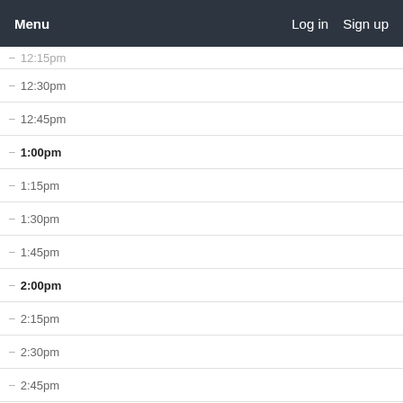Menu   Log in   Sign up
12:15pm
12:30pm
12:45pm
1:00pm
1:15pm
1:30pm
1:45pm
2:00pm
2:15pm
2:30pm
2:45pm
3:00pm
3:15pm
3:30pm